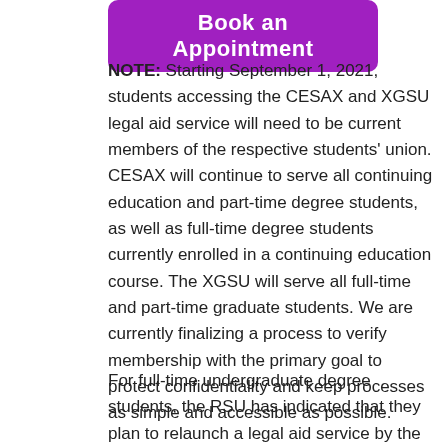[Figure (other): Purple rounded button labeled 'Book an Appointment']
NOTE: Starting September 1, 2021, students accessing the CESAX and XGSU legal aid service will need to be current members of the respective students' union. CESAX will continue to serve all continuing education and part-time degree students, as well as full-time degree students currently enrolled in a continuing education course. The XGSU will serve all full-time and part-time graduate students. We are currently finalizing a process to verify membership with the primary goal to protect confidentiality and keep processes as simple and accessible as possible.
For full-time undergraduate degree students, the RSU has indicated that they plan to relaunch a legal aid service by the end of September